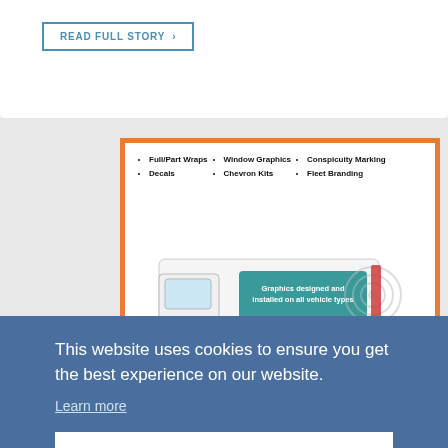READ FULL STORY >
[Figure (infographic): Vehicle graphics infographic showing a white van with teal branding panel reading 'Graphics designed and installed on all vehicle types'. Bullet list items: Full/Part Wraps, Decals, Window Graphics, Chevron Kits, Conspicuity Marking, Fleet Branding. Orange border frame.]
This website uses cookies to ensure you get the best experience on our website.
Learn more
Got it!
[Figure (logo): Partial logo text visible at bottom of page in blue on green background]